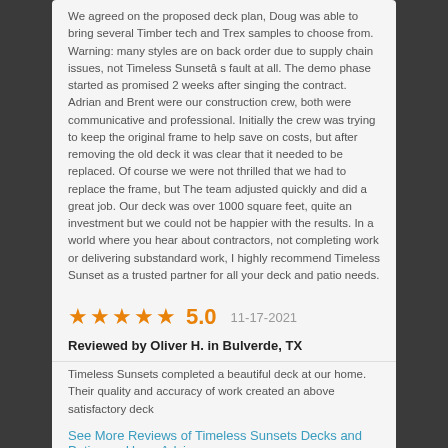We agreed on the proposed deck plan, Doug was able to bring several Timber tech and Trex samples to choose from. Warning: many styles are on back order due to supply chain issues, not Timeless Sunsetâ s fault at all. The demo phase started as promised 2 weeks after singing the contract. Adrian and Brent were our construction crew, both were communicative and professional. Initially the crew was trying to keep the original frame to help save on costs, but after removing the old deck it was clear that it needed to be replaced. Of course we were not thrilled that we had to replace the frame, but The team adjusted quickly and did a great job. Our deck was over 1000 square feet, quite an investment but we could not be happier with the results. In a world where you hear about contractors, not completing work or delivering substandard work, I highly recommend Timeless Sunset as a trusted partner for all your deck and patio needs.
5.0   11-17-2021
Reviewed by Oliver H. in Bulverde, TX
Timeless Sunsets completed a beautiful deck at our home. Their quality and accuracy of work created an above satisfactory deck
See More Reviews of Timeless Sunsets Decks and Patios on HomeAdvisor